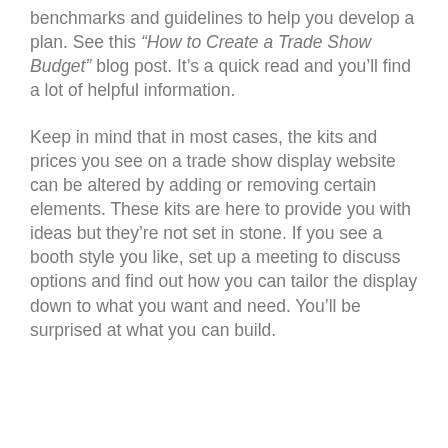benchmarks and guidelines to help you develop a plan. See this “How to Create a Trade Show Budget” blog post. It’s a quick read and you’ll find a lot of helpful information.
Keep in mind that in most cases, the kits and prices you see on a trade show display website can be altered by adding or removing certain elements. These kits are here to provide you with ideas but they’re not set in stone. If you see a booth style you like, set up a meeting to discuss options and find out how you can tailor the display down to what you want and need. You’ll be surprised at what you can build.